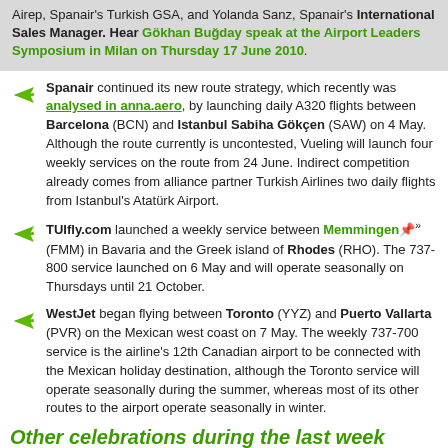Airep, Spanair's Turkish GSA, and Yolanda Sanz, Spanair's International Sales Manager. Hear Gökhan Buğday speak at the Airport Leaders Symposium in Milan on Thursday 17 June 2010.
Spanair continued its new route strategy, which recently was analysed in anna.aero, by launching daily A320 flights between Barcelona (BCN) and Istanbul Sabiha Gökçen (SAW) on 4 May. Although the route currently is uncontested, Vueling will launch four weekly services on the route from 24 June. Indirect competition already comes from alliance partner Turkish Airlines two daily flights from Istanbul's Atatürk Airport.
TUIfly.com launched a weekly service between Memmingen (FMM) in Bavaria and the Greek island of Rhodes (RHO). The 737-800 service launched on 6 May and will operate seasonally on Thursdays until 21 October.
WestJet began flying between Toronto (YYZ) and Puerto Vallarta (PVR) on the Mexican west coast on 7 May. The weekly 737-700 service is the airline's 12th Canadian airport to be connected with the Mexican holiday destination, although the Toronto service will operate seasonally during the summer, whereas most of its other routes to the airport operate seasonally in winter.
Other celebrations during the last week